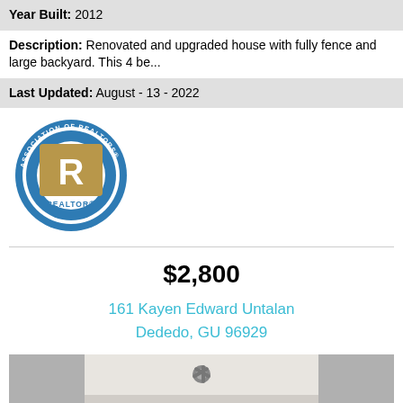Year Built: 2012
Description: Renovated and upgraded house with fully fence and large backyard. This 4 be...
Last Updated: August - 13 - 2022
[Figure (logo): Association of Realtors Guam - REALTOR badge/logo, circular blue and gold design]
$2,800
161 Kayen Edward Untalan Dededo, GU 96929
[Figure (photo): Interior photo of a room showing ceiling with a ceiling fan/light fixture, white walls]